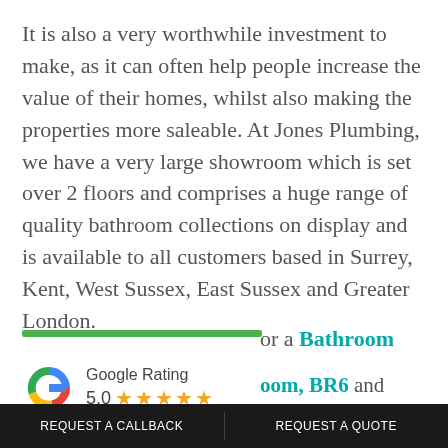It is also a very worthwhile investment to make, as it can often help people increase the value of their homes, whilst also making the properties more saleable. At Jones Plumbing, we have a very large showroom which is set over 2 floors and comprises a huge range of quality bathroom collections on display and is available to all customers based in Surrey, Kent, West Sussex, East Sussex and Greater London.
or a Bathroom
[Figure (logo): Google Rating widget showing 5.0 stars with Google G logo]
oom, BR6 and want to
o obligation design
REQUEST A CALLBACK   REQUEST A QUOTE